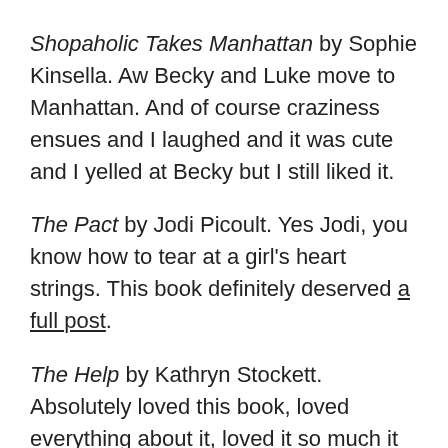Shopaholic Takes Manhattan by Sophie Kinsella. Aw Becky and Luke move to Manhattan. And of course craziness ensues and I laughed and it was cute and I yelled at Becky but I still liked it.
The Pact by Jodi Picoult. Yes Jodi, you know how to tear at a girl's heart strings. This book definitely deserved a full post.
The Help by Kathryn Stockett. Absolutely loved this book, loved everything about it, loved it so much it has its own review as well.
To The Nines by Janet Evanovich. Stephanie Plum to the rescue!